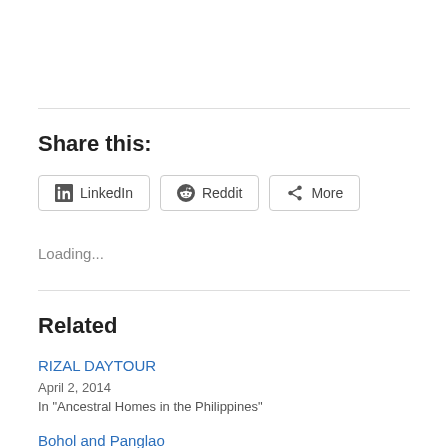Share this:
LinkedIn  Reddit  More
Loading...
Related
RIZAL DAYTOUR
April 2, 2014
In "Ancestral Homes in the Philippines"
Bohol and Panglao